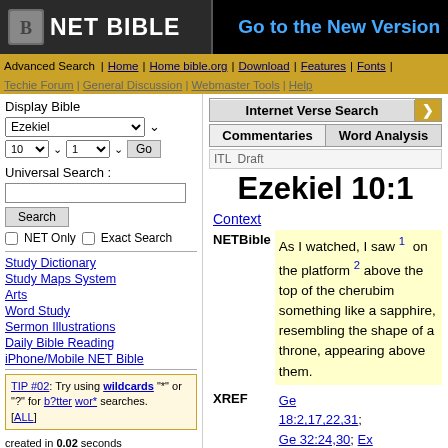NET BIBLE | Go to the New Version
Advanced Search | Home | Home bible.org | Download | Features | Fonts | Techie Forum | General Discussion | Webmaster Tools | Help
Display Bible
Universal Search :
Study Dictionary
Study Maps System
Arts
Word Study
Sermon Illustrations
Daily Bible Reading
iPhone/Mobile NET Bible
TIP #02: Try using wildcards "*" or "?" for b?tter wor* searches. [ALL]
created in 0.02 seconds
powered by bible.org
Ezekiel 10:1
Context
NETBible  As I watched, I saw 1 on the platform 2 above the top of the cherubim something like a sapphire, resembling the shape of a throne, appearing above them.
XREF  Ge 18:2,17,22,31; Ge 32:24,30; Ex